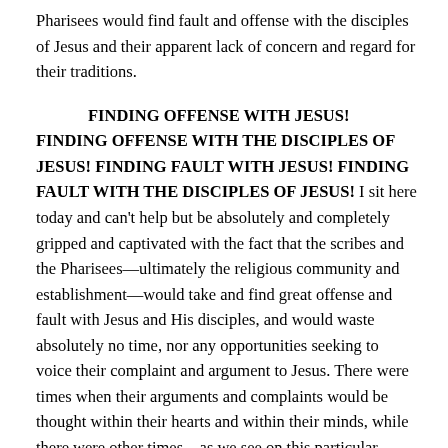Pharisees would find fault and offense with the disciples of Jesus and their apparent lack of concern and regard for their traditions.
FINDING OFFENSE WITH JESUS! FINDING OFFENSE WITH THE DISCIPLES OF JESUS! FINDING FAULT WITH JESUS! FINDING FAULT WITH THE DISCIPLES OF JESUS! I sit here today and can't help but be absolutely and completely gripped and captivated with the fact that the scribes and the Pharisees—ultimately the religious community and establishment—would take and find great offense and fault with Jesus and His disciples, and would waste absolutely no time, nor any opportunities seeking to voice their complaint and argument to Jesus. There were times when their arguments and complaints would be thought within their hearts and within their minds, while there were other times—as we see on this particular occasion—when their argument and complaint would be toward and against the disciples of Jesus and